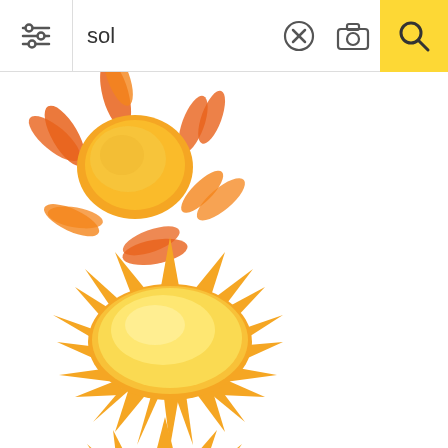sol
[Figure (illustration): Search results page showing the query 'sol' with multiple sun illustrations displayed in a vertical list on the left side. Three full sun images visible: a watercolor-style painted sun with orange rays, a glossy yellow sun with pointed rays, and a flat yellow sun with white outline. A fourth sun is partially visible at the bottom.]